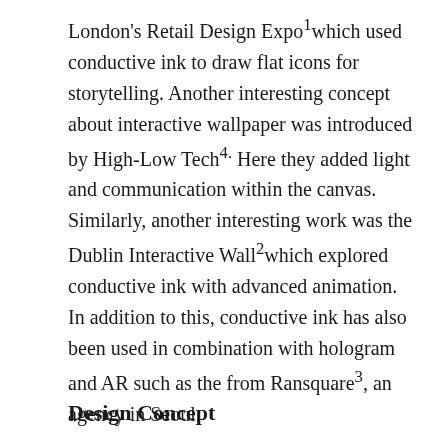London's Retail Design Expo¹which used conductive ink to draw flat icons for storytelling. Another interesting concept about interactive wallpaper was introduced by High-Low Tech⁴. Here they added light and communication within the canvas. Similarly, another interesting work was the Dublin Interactive Wall²which explored conductive ink with advanced animation. In addition to this, conductive ink has also been used in combination with hologram and AR such as the from Ransquare³, an agency in Seoul.
Design Concept